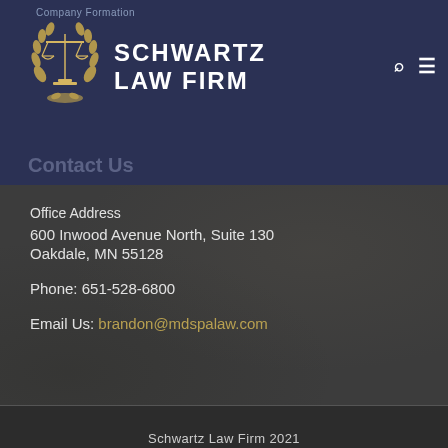Company Formation
[Figure (logo): Schwartz Law Firm logo with scales of justice and laurel wreath, white text on dark navy background]
Contact Us
Office Address
600 Inwood Avenue North, Suite 130
Oakdale, MN 55128
Phone: 651-528-6800
Email Us: brandon@mdspalaw.com
Schwartz Law Firm 2021